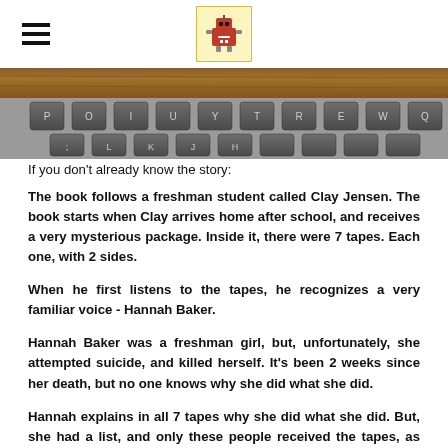[hamburger menu icon] [robot logo]
[Figure (photo): Close-up photo of a computer keyboard keys, dark gray keys on a wooden surface, partial view from above]
If you don't already know the story:
The book follows a freshman student called Clay Jensen. The book starts when Clay arrives home after school, and receives a very mysterious package. Inside it, there were 7 tapes. Each one, with 2 sides.
When he first listens to the tapes, he recognizes a very familiar voice - Hannah Baker.
Hannah Baker was a freshman girl, but, unfortunately, she attempted suicide, and killed herself. It's been 2 weeks since her death, but no one knows why she did what she did.
Hannah explains in all 7 tapes why she did what she did. But, she had a list, and only these people received the tapes, as they are related to her death -